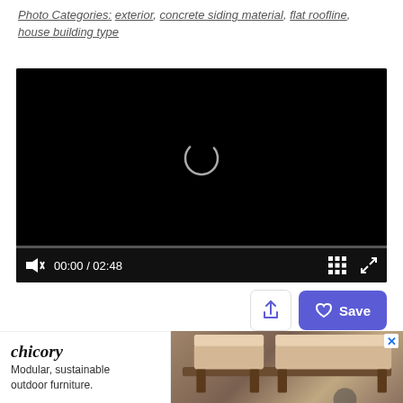Photo Categories: exterior, concrete siding material, flat roofline, house building type
[Figure (screenshot): Video player with black screen showing loading spinner, progress bar, and controls showing 00:00 / 02:48]
[Figure (screenshot): Action bar with share upload button and blue Save button with heart icon]
"As always, we prefer to inhabit a structure
inste... In this v... y of a
[Figure (advertisement): Chicory ad - Modular, sustainable outdoor furniture with image of outdoor seating area]